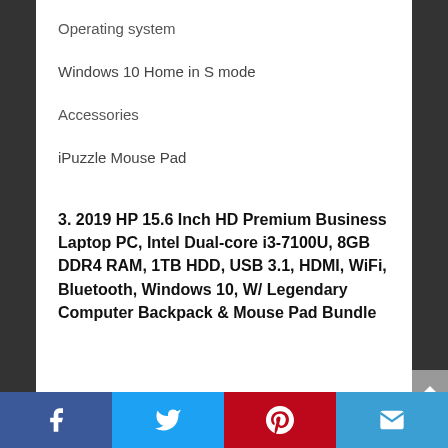Operating system
Windows 10 Home in S mode
Accessories
iPuzzle Mouse Pad
3. 2019 HP 15.6 Inch HD Premium Business Laptop PC, Intel Dual-core i3-7100U, 8GB DDR4 RAM, 1TB HDD, USB 3.1, HDMI, WiFi, Bluetooth, Windows 10, W/ Legendary Computer Backpack & Mouse Pad Bundle
Facebook Twitter Pinterest Email